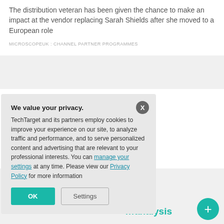The distribution veteran has been given the chance to make an impact at the vendor replacing Sarah Shields after she moved to a European role
MICROSCOPEUK : CHANNEL PARTNER PROGRAMMES
TUE SEP 4, 2018
ngapore
AI applications to build new ols
NCE,
analysis
We value your privacy. TechTarget and its partners employ cookies to improve your experience on our site, to analyze traffic and performance, and to serve personalized content and advertising that are relevant to your professional interests. You can manage your settings at any time. Please view our Privacy Policy for more information